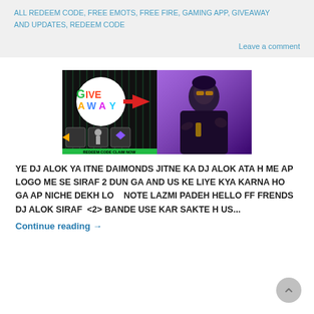ALL REDEEM CODE, FREE EMOTS, FREE FIRE, GAMING APP, GIVEAWAY AND UPDATES, REDEEM CODE
Leave a comment
[Figure (photo): Gaming giveaway image showing 'GIVE AWAY' logo on left side with a red arrow pointing to a Free Fire character (DJ Alok) on the right, with text 'REDEEM CODE CLAIM NOW' at the bottom]
YE DJ ALOK YA ITNE DAIMONDS JITNE KA DJ ALOK ATA H ME AP LOGO ME SE SIRAF 2 DUN GA AND US KE LIYE KYA KARNA HO GA AP NICHE DEKH LO   NOTE LAZMI PADEH HELLO FF FRENDS DJ ALOK SIRAF  <2> BANDE USE KAR SAKTE H US...
Continue reading →